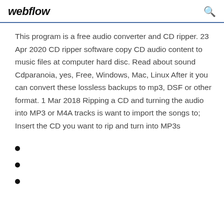webflow
This program is a free audio converter and CD ripper. 23 Apr 2020 CD ripper software copy CD audio content to music files at computer hard disc. Read about sound Cdparanoia, yes, Free, Windows, Mac, Linux After it you can convert these lossless backups to mp3, DSF or other format. 1 Mar 2018 Ripping a CD and turning the audio into MP3 or M4A tracks is want to import the songs to; Insert the CD you want to rip and turn into MP3s